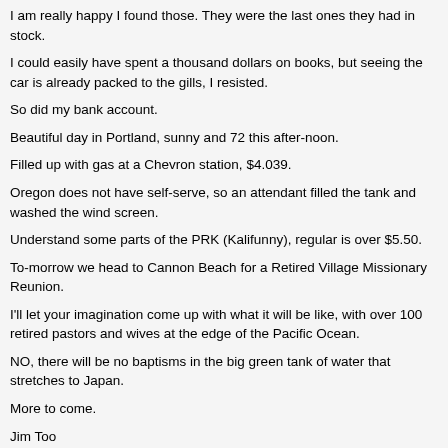I am really happy I found those. They were the last ones they had in stock.
I could easily have spent a thousand dollars on books, but seeing the car is already packed to the gills, I resisted.
So did my bank account.
Beautiful day in Portland, sunny and 72 this after-noon.
Filled up with gas at a Chevron station, $4.039.
Oregon does not have self-serve, so an attendant filled the tank and washed the wind screen.
Understand some parts of the PRK (Kalifunny), regular is over $5.50.
To-morrow we head to Cannon Beach for a Retired Village Missionary Reunion.
I'll let your imagination come up with what it will be like, with over 100 retired pastors and wives at the edge of the Pacific Ocean.
NO, there will be no baptisms in the big green tank of water that stretches to Japan.
More to come.
Jim Too